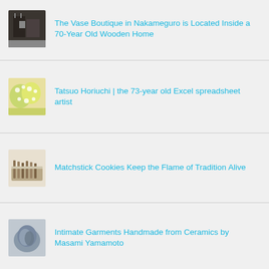The Vase Boutique in Nakameguro is Located Inside a 70-Year Old Wooden Home
Tatsuo Horiuchi | the 73-year old Excel spreadsheet artist
Matchstick Cookies Keep the Flame of Tradition Alive
Intimate Garments Handmade from Ceramics by Masami Yamamoto
Shunga: Japanese Erotic Art from the 1600s – 1800s